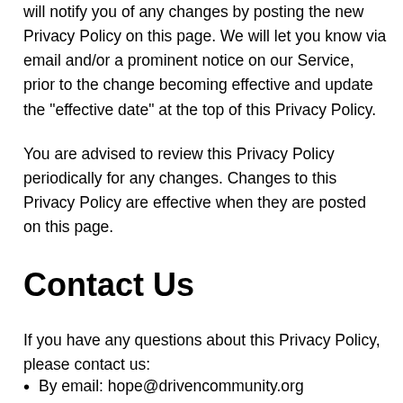will notify you of any changes by posting the new Privacy Policy on this page. We will let you know via email and/or a prominent notice on our Service, prior to the change becoming effective and update the "effective date" at the top of this Privacy Policy.
You are advised to review this Privacy Policy periodically for any changes. Changes to this Privacy Policy are effective when they are posted on this page.
Contact Us
If you have any questions about this Privacy Policy, please contact us:
By email: hope@drivencommunity.org